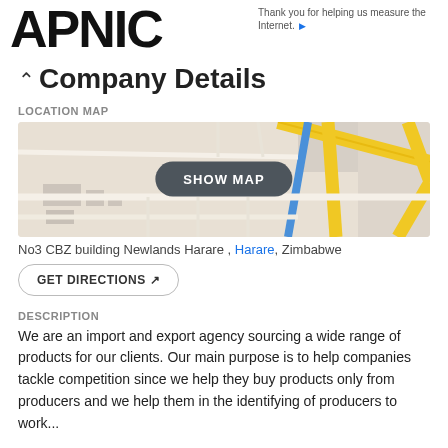APNIC — Thank you for helping us measure the Internet.
Company Details
LOCATION MAP
[Figure (map): Street map showing location near No3 CBZ building Newlands Harare with roads in yellow and blue, overlaid with a dark SHOW MAP button.]
No3 CBZ building Newlands Harare , Harare, Zimbabwe
GET DIRECTIONS ↗
DESCRIPTION
We are an import and export agency sourcing a wide range of products for our clients. Our main purpose is to help companies tackle competition since we help they buy products only from producers and we help them in the identifying of producers to work...